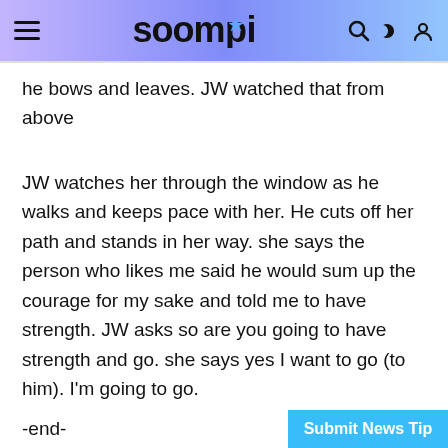soompi
he bows and leaves. JW watched that from above
JW watches her through the window as he walks and keeps pace with her. He cuts off her path and stands in her way. she says the person who likes me said he would sum up the courage for my sake and told me to have strength. JW asks so are you going to have strength and go. she says yes I want to go (to him). I'm going to go.
-end-
no preview
*The look in his eyes as he watched her thro…